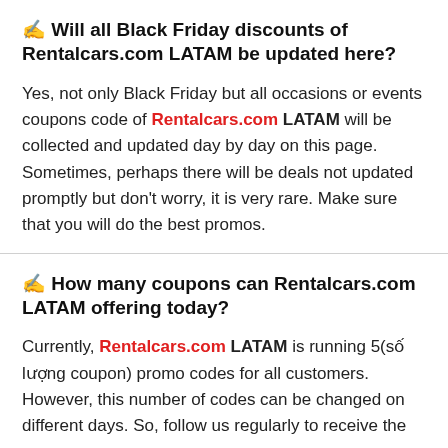✍ Will all Black Friday discounts of Rentalcars.com LATAM be updated here?
Yes, not only Black Friday but all occasions or events coupons code of Rentalcars.com LATAM will be collected and updated day by day on this page. Sometimes, perhaps there will be deals not updated promptly but don't worry, it is very rare. Make sure that you will do the best promos.
✍ How many coupons can Rentalcars.com LATAM offering today?
Currently, Rentalcars.com LATAM is running 5(số lượng coupon) promo codes for all customers. However, this number of codes can be changed on different days. So, follow us regularly to receive the